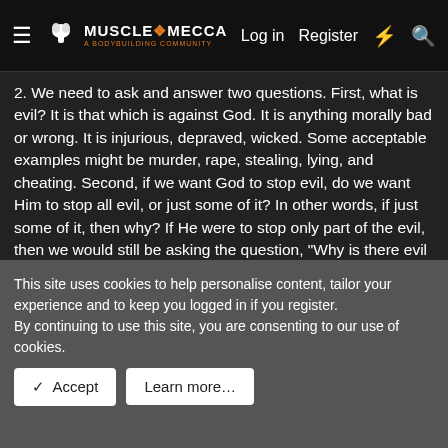≡  MUSCLE MECCA  Log in  Register  ⚡  🔍
2. We need to ask and answer two questions. First, what is evil? It is that which is against God. It is anything morally bad or wrong. It is injurious, depraved, wicked. Some acceptable examples might be murder, rape, stealing, lying, and cheating. Second, if we want God to stop evil, do we want Him to stop all evil, or just some of it? In other words, if just some of it, then why? If He were to stop only part of the evil, then we would still be asking the question, "Why is there evil in the world?" Let's suppose that someone was about to commit murder. God would have to stop him, maybe whisper in his ear, or if that didn't work, do something a little more drastic, like have something fall on him, or stop his heart, or make his hands suddenly fall off. Anyway, God would have to do something.
This site uses cookies to help personalise content, tailor your experience and to keep you logged in if you register.
By continuing to use this site, you are consenting to our use of cookies.
✓  Accept    Learn more...